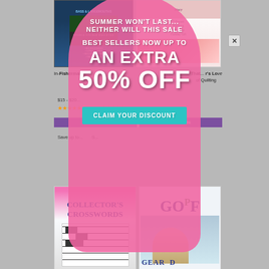[Figure (screenshot): Website popup overlay on a magazine subscription page. Background shows magazine covers including fishing and quilting magazines. A pink popsicle-shaped popup overlay displays a summer sale promotion with text: SUMMER WON'T LAST... NEITHER WILL THIS SALE / BEST SELLERS NOW UP TO / AN EXTRA / 50% OFF / with a CLAIM YOUR DISCOUNT teal button. Background shows In-Fisherman and Lady's Love of Quilting product listings with prices and purple subscribe buttons, and bottom magazine covers for Collector's Crosswords and Golf.]